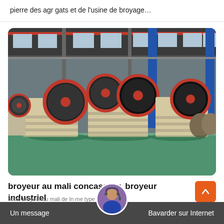pierre des agr gats et de l'usine de broyage…
[Figure (photo): Industrial jaw crushers with red and black flywheels lined up on factory floor inside a large manufacturing warehouse with steel structure ceiling and blue pillars]
broyeur au mali concasseur, broyeur industriel
notre broyeur au mali de In me type bascule,
Un message    Bavarder sur Internet